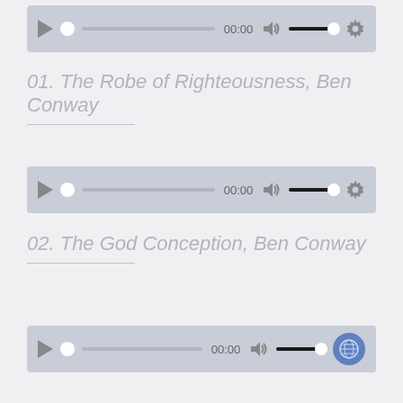[Figure (screenshot): Audio player bar for track 01, showing play button, progress bar dot, 00:00 time, volume icon, volume bar with dot, and gear settings icon]
01. The Robe of Righteousness, Ben Conway
[Figure (screenshot): Audio player bar for track 02, showing play button, progress bar dot, 00:00 time, volume icon, volume bar with dot, and gear settings icon]
02. The God Conception, Ben Conway
[Figure (screenshot): Audio player bar for track 03, showing play button, progress bar dot, 00:00 time, volume icon, volume bar with dot, and globe/share icon button]